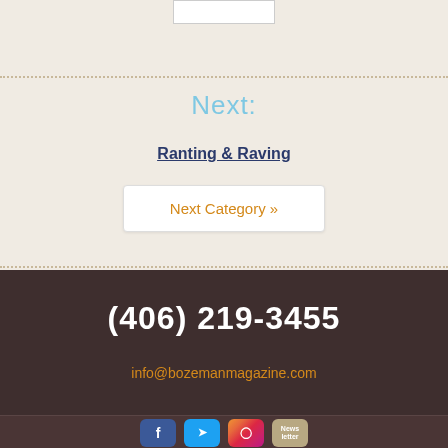[Figure (other): White input/search box at top of page]
Next:
Ranting & Raving
Next Category »
(406) 219-3455
info@bozemanmagazine.com
[Figure (other): Social media icons: Facebook, Twitter, Instagram, Newsletter]